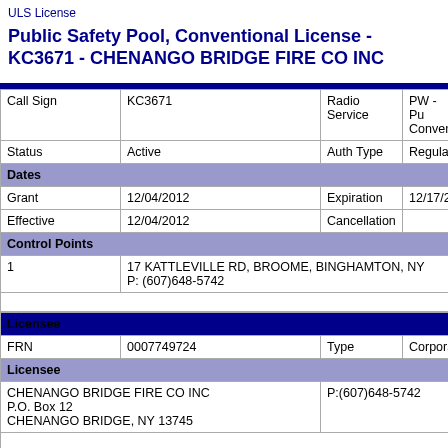ULS License
Public Safety Pool, Conventional License - KC3671 - CHENANGO BRIDGE FIRE CO INC
| Call Sign | KC3671 | Radio Service | PW - Pu Conven |
| --- | --- | --- | --- |
| Status | Active | Auth Type | Regular |
| Dates |  |  |  |
| Grant | 12/04/2012 | Expiration | 12/17/2... |
| Effective | 12/04/2012 | Cancellation |  |
| Control Points |  |  |  |
| 1 | 17 KATTLEVILLE RD, BROOME, BINGHAMTON, NY
P: (607)648-5742 |  |  |
| Licensee |  |  |  |
| --- | --- | --- | --- |
| FRN | 0007749724 | Type | Corpora |
| Licensee |  |  |  |
| CHENANGO BRIDGE FIRE CO INC
P.O. Box 12
CHENANGO BRIDGE, NY 13745 | P:(607)648-5742 |  |  |